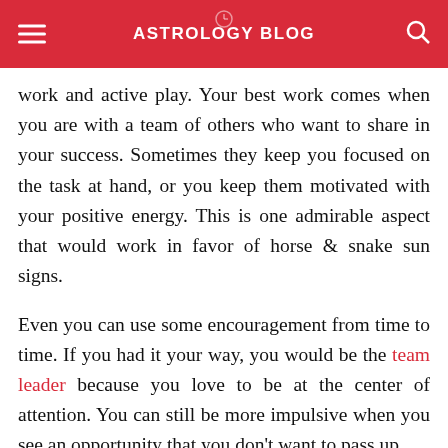ASTROLOGY BLOG
work and active play. Your best work comes when you are with a team of others who want to share in your success. Sometimes they keep you focused on the task at hand, or you keep them motivated with your positive energy. This is one admirable aspect that would work in favor of horse & snake sun signs.
Even you can use some encouragement from time to time. If you had it your way, you would be the team leader because you love to be at the center of attention. You can still be more impulsive when you see an opportunity that you don't want to pass up.